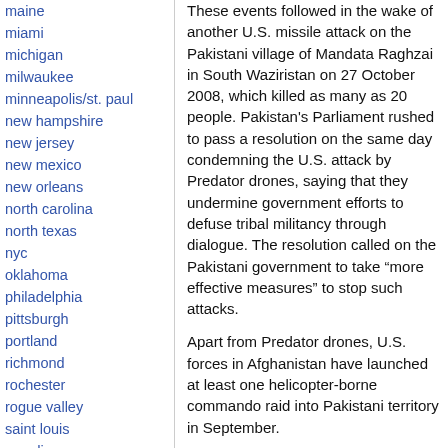maine
miami
michigan
milwaukee
minneapolis/st. paul
new hampshire
new jersey
new mexico
new orleans
north carolina
north texas
nyc
oklahoma
philadelphia
pittsburgh
portland
richmond
rochester
rogue valley
saint louis
san diego
san francisco
san francisco bay area
santa barbara
santa cruz, ca
sarasota
These events followed in the wake of another U.S. missile attack on the Pakistani village of Mandata Raghzai in South Waziristan on 27 October 2008, which killed as many as 20 people. Pakistan's Parliament rushed to pass a resolution on the same day condemning the U.S. attack by Predator drones, saying that they undermine government efforts to defuse tribal militancy through dialogue. The resolution called on the Pakistani government to take “more effective measures” to stop such attacks.
Apart from Predator drones, U.S. forces in Afghanistan have launched at least one helicopter-borne commando raid into Pakistani territory in September.
The cross-border U.S. military operations have reportedly killed several thousand innocent civilians, including women and children. Hundreds of thousands of people in